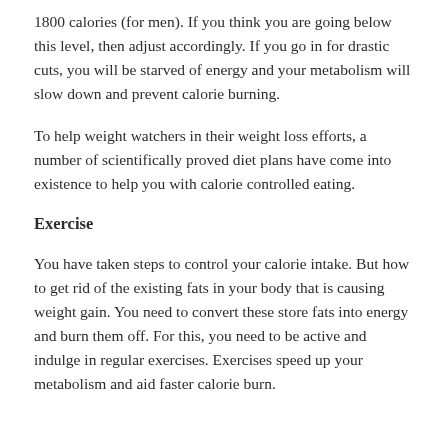1800 calories (for men). If you think you are going below this level, then adjust accordingly. If you go in for drastic cuts, you will be starved of energy and your metabolism will slow down and prevent calorie burning.
To help weight watchers in their weight loss efforts, a number of scientifically proved diet plans have come into existence to help you with calorie controlled eating.
Exercise
You have taken steps to control your calorie intake. But how to get rid of the existing fats in your body that is causing weight gain. You need to convert these store fats into energy and burn them off. For this, you need to be active and indulge in regular exercises. Exercises speed up your metabolism and aid faster calorie burn.